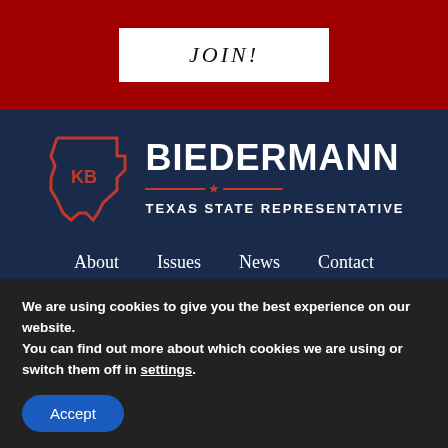JOIN!
[Figure (logo): Biedermann Texas State Representative logo — Texas outline with KB initials on the left, BIEDERMANN text and TEXAS STATE REPRESENTATIVE text on the right, with decorative red star-line divider]
About  Issues  News  Contact
[Figure (infographic): Social media icons: Facebook circle icon, Twitter circle icon, Gab text logo, MeWe text logo]
We are using cookies to give you the best experience on our website.
You can find out more about which cookies we are using or switch them off in settings.
Accept